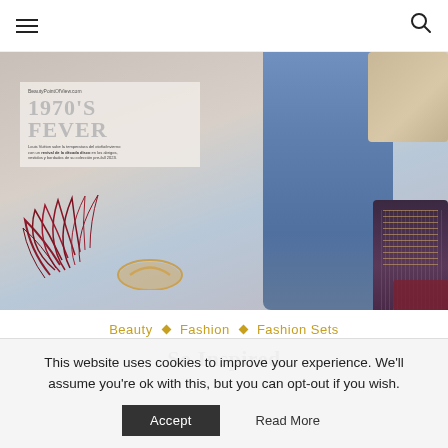Navigation bar with hamburger menu and search icon
[Figure (photo): Fashion collage featuring blue flare jeans, decorative red/burgundy feathers, a handbag, dark lace-up boots, a beige cardigan, and a magazine page showing '1970'S FEVER' with BeautyPointOfView.com branding]
Beauty ◇ Fashion ◇ Fashion Sets
So Inspired
This website uses cookies to improve your experience. We'll assume you're ok with this, but you can opt-out if you wish. Accept  Read More